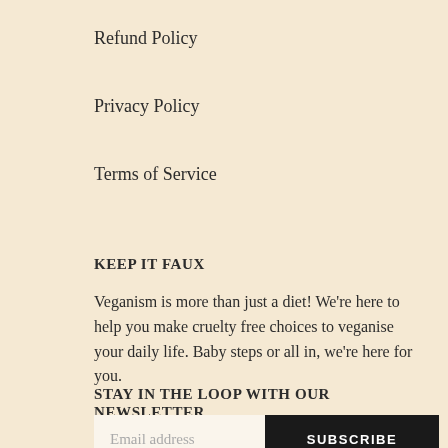Refund Policy
Privacy Policy
Terms of Service
KEEP IT FAUX
Veganism is more than just a diet! We're here to help you make cruelty free choices to veganise your daily life. Baby steps or all in, we're here for you.
STAY IN THE LOOP WITH OUR NEWSLETTER
Email address
SUBSCRIBE